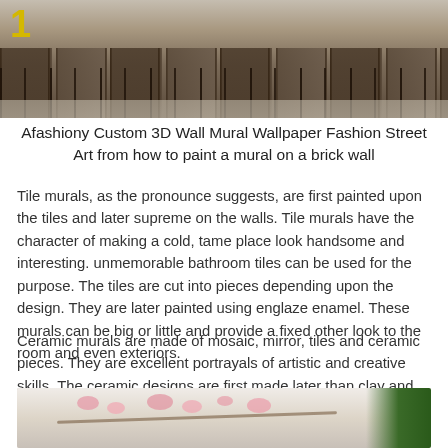[Figure (photo): Photo of a restaurant interior with dark wooden chairs arranged around tables, taken from a wide angle. A yellow number '1' is visible in the top-left corner of the image.]
Afashiony Custom 3D Wall Mural Wallpaper Fashion Street Art from how to paint a mural on a brick wall
Tile murals, as the pronounce suggests, are first painted upon the tiles and later supreme on the walls. Tile murals have the character of making a cold, tame place look handsome and interesting. unmemorable bathroom tiles can be used for the purpose. The tiles are cut into pieces depending upon the design. They are later painted using englaze enamel. These murals can be big or little and provide a fixed other look to the room and even exteriors.
Ceramic murals are made of mosaic, mirror, tiles and ceramic pieces. They are excellent portrayals of artistic and creative skills .The ceramic designs are first made later than clay and baked in a kiln. These murals are long and are generally inspired by canvasses.
[Figure (photo): Photo of a floral mural painting on a wall showing pink flowers on branches, with green plants/foliage visible on the right side.]